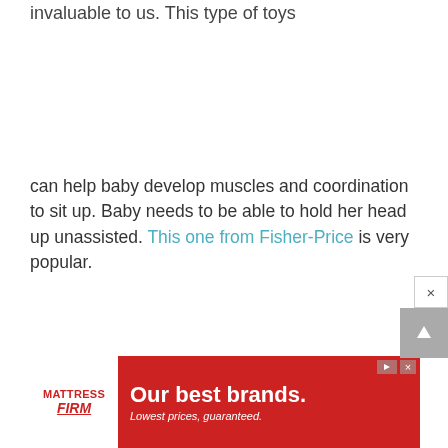invaluable to us. This type of toys can help baby develop muscles and coordination to sit up. Baby needs to be able to hold her head up unassisted. This one from Fisher-Price is very popular.
[Figure (screenshot): Mattress Firm advertisement banner with red background, white text reading 'Our best brands. Lowest prices, guaranteed.' and the Mattress Firm logo on white background on the left side. Small play and close controls visible at top right of banner.]